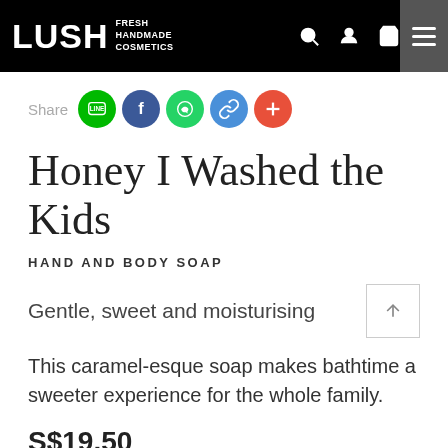LUSH FRESH HANDMADE COSMETICS
[Figure (logo): Social share buttons: Line, Facebook, WhatsApp, link, plus]
Honey I Washed the Kids
HAND AND BODY SOAP
Gentle, sweet and moisturising
This caramel-esque soap makes bathtime a sweeter experience for the whole family.
S$19.50